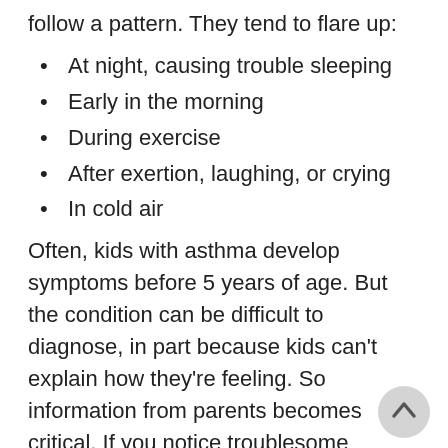follow a pattern. They tend to flare up:
At night, causing trouble sleeping
Early in the morning
During exercise
After exertion, laughing, or crying
In cold air
Often, kids with asthma develop symptoms before 5 years of age. But the condition can be difficult to diagnose, in part because kids can't explain how they're feeling. So information from parents becomes critical. If you notice troublesome trends, tell your child's healthcare provider, or an allergist or immunologist. Any of these experts can diagnose and treat the disease.
Making the diagnosis